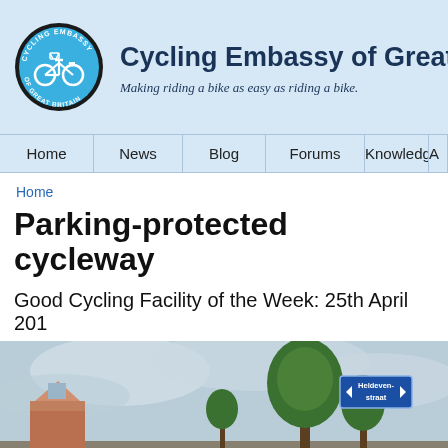[Figure (logo): Cycling Embassy of Great Britain circular logo with bicycle illustration]
Cycling Embassy of Great B
Making riding a bike as easy as riding a bike.
Home | News | Blog | Forums | Knowledge base | A
Home
Parking-protected cycleway
Good Cycling Facility of the Week: 25th April 201
[Figure (photo): Street photo showing a cycleway with trees and a Heldevenstraat street sign]